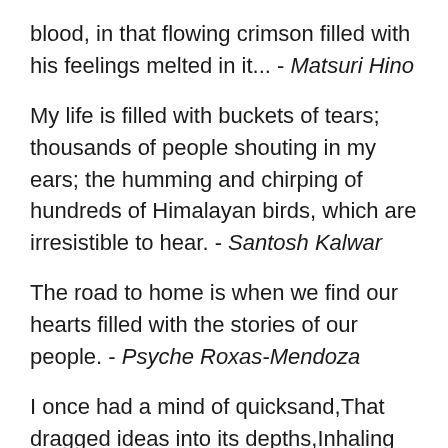blood, in that flowing crimson filled with his feelings melted in it... - Matsuri Hino
My life is filled with buckets of tears; thousands of people shouting in my ears; the humming and chirping of hundreds of Himalayan birds, which are irresistible to hear. - Santosh Kalwar
The road to home is when we find our hearts filled with the stories of our people. - Psyche Roxas-Mendoza
I once had a mind of quicksand,That dragged ideas into its depths,Inhaling specks of sunlight,Every time I drew a breath,But the world thought me a